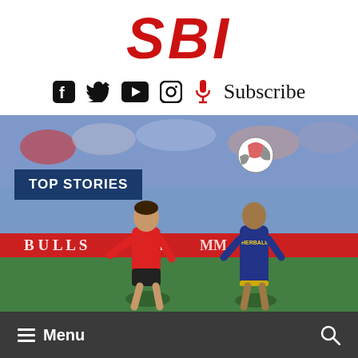SBI
[Figure (logo): SBI logo in bold red italic letters]
Social media icons (Facebook, Twitter, YouTube, Instagram, Microphone/Subscribe) and Subscribe text
[Figure (photo): Soccer match photo showing two players competing for the ball — one in red New York Red Bulls kit, one in dark LA Galaxy Herbalife jersey — in front of stadium crowd. Ball is in the air. TOP STORIES label overlaid on the image.]
TOP STORIES
Menu  [search icon]